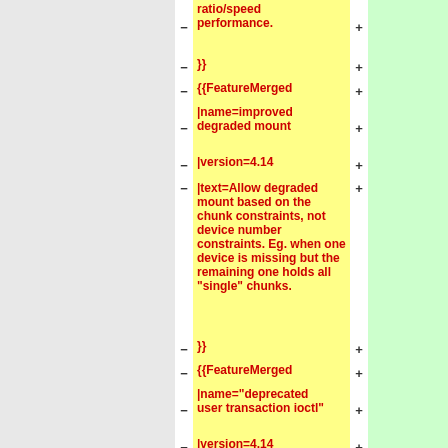− ratio/speed performance.  +
− }}  +
− {{FeatureMerged  +
− |name=improved degraded mount  +
− |version=4.14  +
− |text=Allow degraded mount based on the chunk constraints, not device number constraints. Eg. when one device is missing but the remaining one holds all "single" chunks.  +
− }}  +
− {{FeatureMerged  +
− |name="deprecated user transaction ioctl"  +
− |version=4.14  +